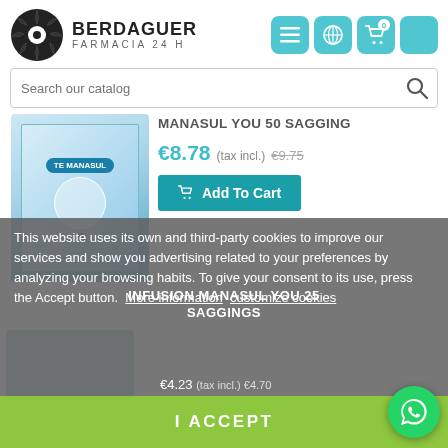[Figure (screenshot): Berdaguer Farmacia 24H pharmacy website screenshot showing product listing, search bar, navigation icons, and cookie consent overlay.]
BERDAGUER FARMACIA 24 H
Search our catalog
MANASUL YOU 50 SAGGING
€8.78 (tax incl.) €9.75
Add To Cart
INFUSION MANASUL YOU 25 SAGGINGS
£4.23 (tax incl.) £4.70
This website uses its own and third-party cookies to improve our services and show you advertising related to your preferences by analyzing your browsing habits. To give your consent to its use, press the Accept button.  More information  customize cookies
I ACCEPT